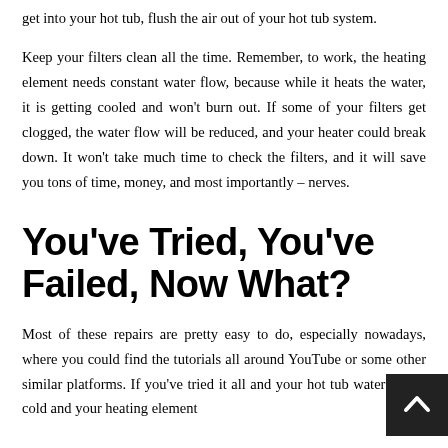get into your hot tub, flush the air out of your hot tub system.
Keep your filters clean all the time. Remember, to work, the heating element needs constant water flow, because while it heats the water, it is getting cooled and won't burn out. If some of your filters get clogged, the water flow will be reduced, and your heater could break down. It won't take much time to check the filters, and it will save you tons of time, money, and most importantly – nerves.
You've Tried, You've Failed, Now What?
Most of these repairs are pretty easy to do, especially nowadays, where you could find the tutorials all around YouTube or some other similar platforms. If you've tried it all and your hot tub water is still cold and your heating element